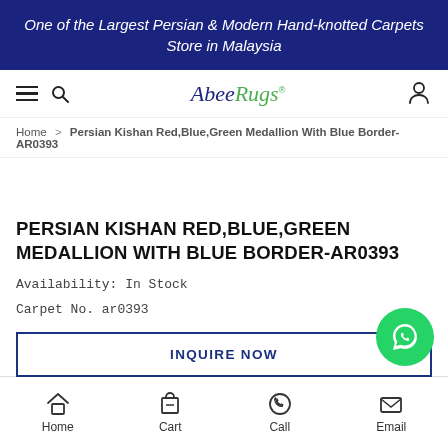One of the Largest Persian & Modern Hand-knotted Carpets Store in Malaysia
[Figure (logo): AbeeRugs logo with stylized text, 'Abee' in dark blue serif and 'Rugs' in green]
Home > Persian Kishan Red,Blue,Green Medallion With Blue Border-AR0393
PERSIAN KISHAN RED,BLUE,GREEN MEDALLION WITH BLUE BORDER-AR0393
Availability: In Stock
Carpet No. ar0393
INQUIRE NOW
Home  Cart  Call  Email